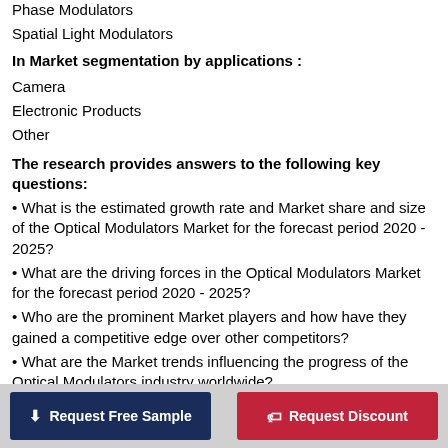Phase Modulators
Spatial Light Modulators
In Market segmentation by applications :
Camera
Electronic Products
Other
The research provides answers to the following key questions:
• What is the estimated growth rate and Market share and size of the Optical Modulators Market for the forecast period 2020 - 2025?
• What are the driving forces in the Optical Modulators Market for the forecast period 2020 - 2025?
• Who are the prominent Market players and how have they gained a competitive edge over other competitors?
• What are the Market trends influencing the progress of the Optical Modulators industry worldwide?
• What are the major challenges and threats restricting the progress of the industry?